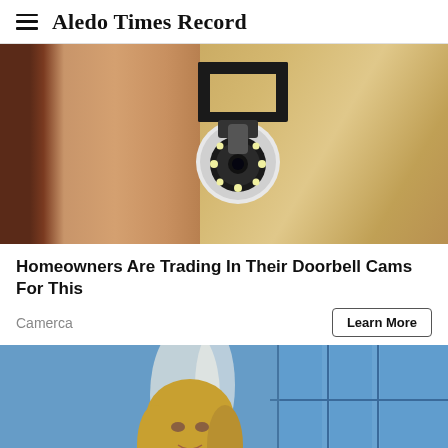Aledo Times Record
[Figure (photo): Security camera mounted on bracket against textured wall, person holding it up]
Homeowners Are Trading In Their Doorbell Cams For This
Camerca
Learn More
[Figure (photo): Blonde woman in black outfit seated, resting chin on hand, blue tiled background]